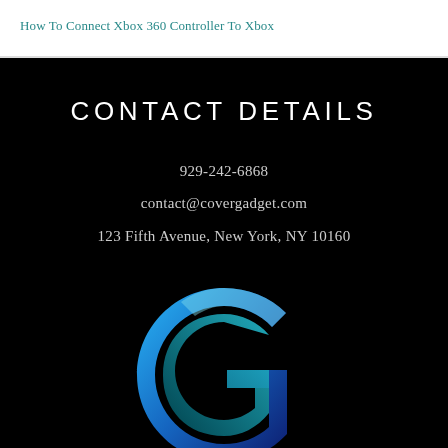How To Connect Xbox 360 Controller To Xbox
CONTACT DETAILS
929-242-6868
contact@covergadget.com
123 Fifth Avenue, New York, NY 10160
[Figure (logo): CoverGadget stylized letter G logo with blue to teal gradient on black background]